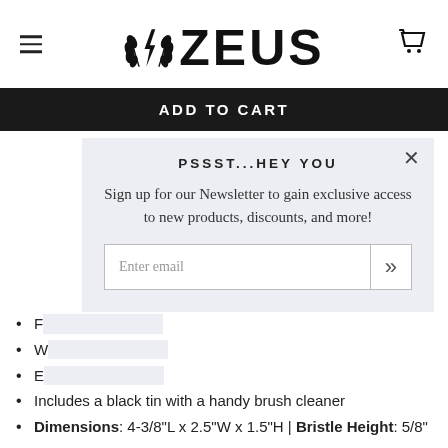[Figure (logo): Zeus brand logo with laurel wreath and lightning bolt emblem, bold ZEUS wordmark]
ADD TO CART
PSSST...HEY YOU
Sign up for our Newsletter to gain exclusive access to new products, discounts, and more!
Enter email
F
W
E
Includes a black tin with a handy brush cleaner
Dimensions: 4-3/8"L x 2.5"W x 1.5"H | Bristle Height: 5/8"